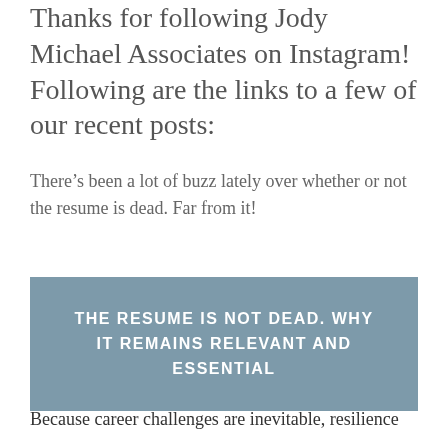Thanks for following Jody Michael Associates on Instagram! Following are the links to a few of our recent posts:
There’s been a lot of buzz lately over whether or not the resume is dead. Far from it!
[Figure (infographic): Steel blue banner with white uppercase text reading: THE RESUME IS NOT DEAD. WHY IT REMAINS RELEVANT AND ESSENTIAL]
Because career challenges are inevitable, resilience